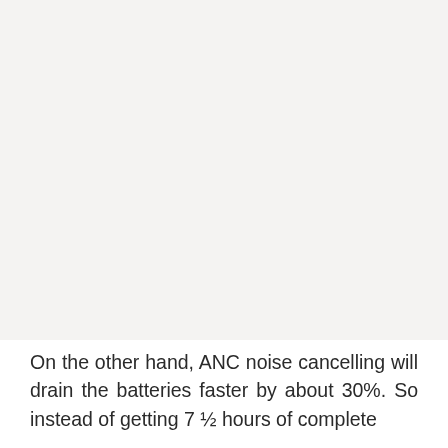[Figure (photo): Large image placeholder area occupying the upper portion of the page, light gray background with faint watermark-like marks near center.]
On the other hand, ANC noise cancelling will drain the batteries faster by about 30%. So instead of getting 7 ½ hours of complete